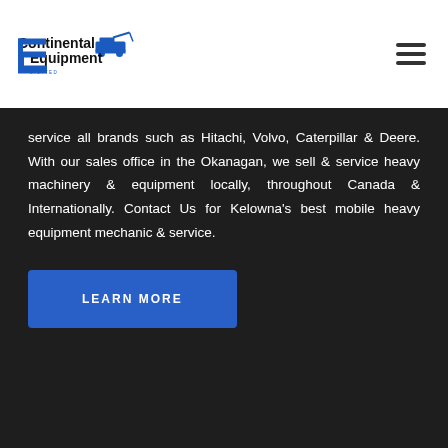[Figure (logo): Continental Equipment Limited logo with text and heavy equipment icon]
service all brands such as Hitachi, Volvo, Caterpillar & Deere. With our sales office in the Okanagan, we sell & service heavy machinery & equipment locally, throughout Canada & Internationally. Contact Us for Kelowna's best mobile heavy equipment mechanic & service.
LEARN MORE